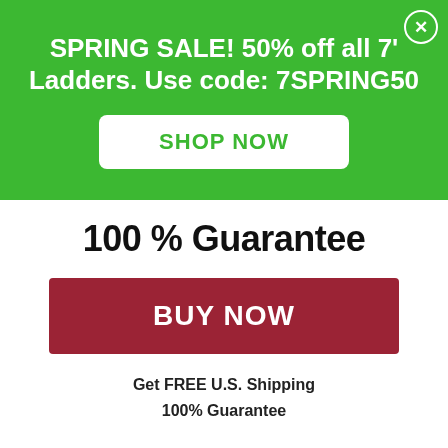SPRING SALE! 50% off all 7' Ladders. Use code: 7SPRING50
SHOP NOW
100 % Guarantee
BUY NOW
Get FREE U.S. Shipping
100% Guarantee